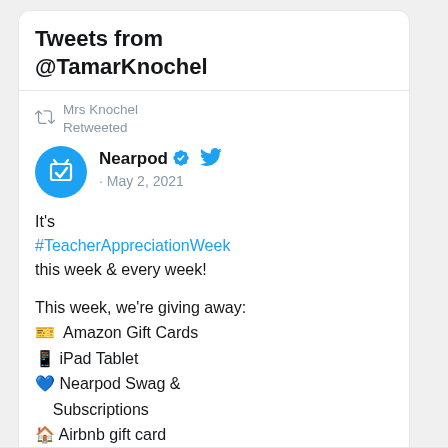Tweets from @TamarKnochel
Mrs Knochel Retweeted
Nearpod · May 2, 2021
It's #TeacherAppreciationWeek this week & every week!

This week, we're giving away:
🎁 Amazon Gift Cards
📱 iPad Tablet
💙 Nearpod Swag & Subscriptions
🏠 Airbnb gift card